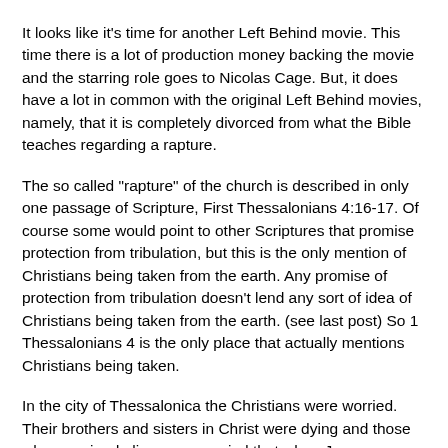It looks like it's time for another Left Behind movie. This time there is a lot of production money backing the movie and the starring role goes to Nicolas Cage. But, it does have a lot in common with the original Left Behind movies, namely, that it is completely divorced from what the Bible teaches regarding a rapture.
The so called "rapture" of the church is described in only one passage of Scripture, First Thessalonians 4:16-17. Of course some would point to other Scriptures that promise protection from tribulation, but this is the only mention of Christians being taken from the earth. Any promise of protection from tribulation doesn't lend any sort of idea of Christians being taken from the earth. (see last post) So 1 Thessalonians 4 is the only place that actually mentions Christians being taken.
In the city of Thessalonica the Christians were worried.  Their brothers and sisters in Christ were dying and those who remained alive were worried that when Jesus returned, their deceased loved ones would miss out on salvation because, well... they were dead.